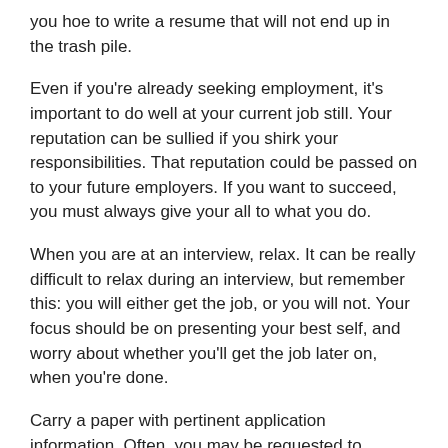you hoe to write a resume that will not end up in the trash pile.
Even if you're already seeking employment, it's important to do well at your current job still. Your reputation can be sullied if you shirk your responsibilities. That reputation could be passed on to your future employers. If you want to succeed, you must always give your all to what you do.
When you are at an interview, relax. It can be really difficult to relax during an interview, but remember this: you will either get the job, or you will not. Your focus should be on presenting your best self, and worry about whether you'll get the job later on, when you're done.
Carry a paper with pertinent application information. Often, you may be requested to provide information that you do not remember anymore, like dates and contacts. Having such information written down on paper is a smart idea. This will allow you to complete applications